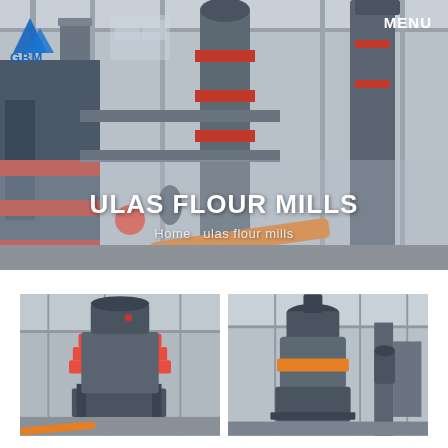[Figure (photo): Industrial flour mill machinery facility banner image showing large grinding equipment with red accents, cylindrical towers, and steel framework in a factory setting]
MENU
[Figure (logo): GBM logo with blue mountain triangle icon and GBM text]
ULAS FLOUR MILLS
Home   ulas flour mills
[Figure (photo): Industrial grinding mill machine with red circular rings and cylindrical top in a warehouse facility]
[Figure (photo): Large cylindrical industrial mill/grinder machine with orange band in a factory building]